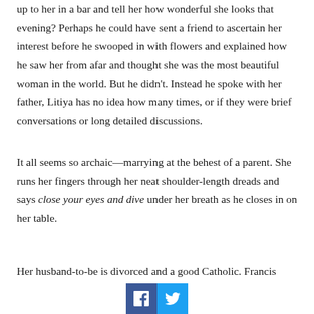up to her in a bar and tell her how wonderful she looks that evening? Perhaps he could have sent a friend to ascertain her interest before he swooped in with flowers and explained how he saw her from afar and thought she was the most beautiful woman in the world. But he didn't. Instead he spoke with her father, Litiya has no idea how many times, or if they were brief conversations or long detailed discussions.
It all seems so archaic—marrying at the behest of a parent. She runs her fingers through her neat shoulder-length dreads and says close your eyes and dive under her breath as he closes in on her table.
Her husband-to-be is divorced and a good Catholic. Francis
[Figure (other): Social media sharing buttons: Facebook (blue) and Twitter (light blue)]